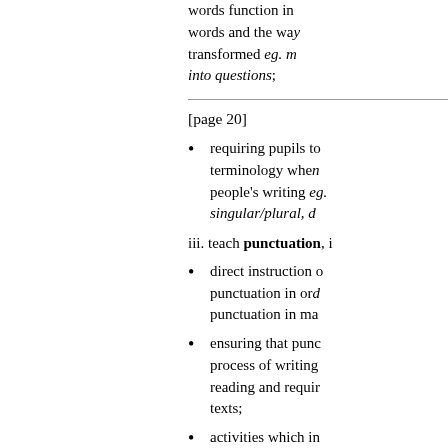words function in sentences, the grammatical patterns of words and the way in which sentences can be transformed eg. making statements into questions;
[page 20]
requiring pupils to use grammatical terminology when discussing other people's writing eg. tense, singular/plural, d...
iii. teach punctuation, i...
direct instruction on punctuation in order to teach punctuation in ma...
ensuring that punctuation in the process of writing is reinforced through reading and requiring pupils to identify punctuation in texts;
activities which involve pupils in which pupils recognise the role of marking grammat...